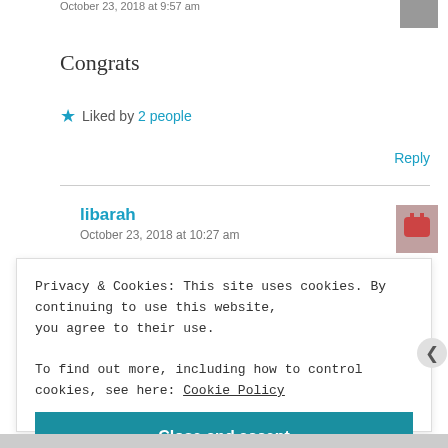October 23, 2018 at 9:57 am
Congrats
★ Liked by 2 people
Reply
libarah
October 23, 2018 at 10:27 am
Privacy & Cookies: This site uses cookies. By continuing to use this website, you agree to their use.
To find out more, including how to control cookies, see here: Cookie Policy
Close and accept